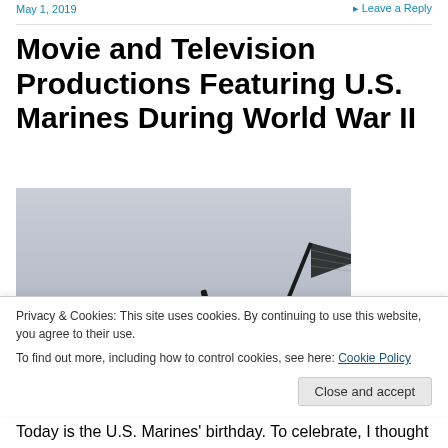May 1, 2019   Leave a Reply
Movie and Television Productions Featuring U.S. Marines During World War II
[Figure (photo): Black and white silhouette photo of soldiers raising the American flag, reminiscent of the Iwo Jima flag raising, against a light grey sky.]
Privacy & Cookies: This site uses cookies. By continuing to use this website, you agree to their use.
To find out more, including how to control cookies, see here: Cookie Policy
Today is the U.S. Marines' birthday. To celebrate, I thought